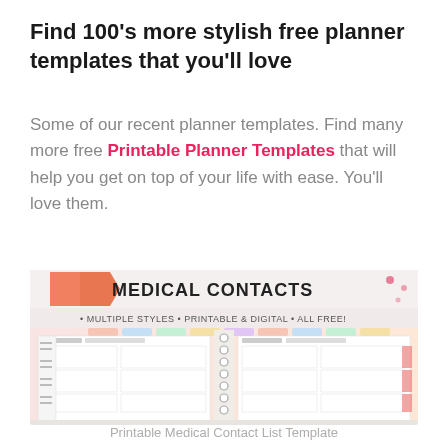Find 100’s more stylish free planner templates that you’ll love
Some of our recent planner templates. Find many more free Printable Planner Templates that will help you get on top of your life with ease. You’ll love them.
[Figure (photo): Image of an open spiral-bound medical contacts planner on a colorful background. Header reads 'MEDICAL CONTACTS' with subtitle '• MULTIPLE STYLES • PRINTABLE & DIGITAL • ALL FREE!' The planner pages show a grid-style medical contacts template.]
Printable Medical Contact List Template